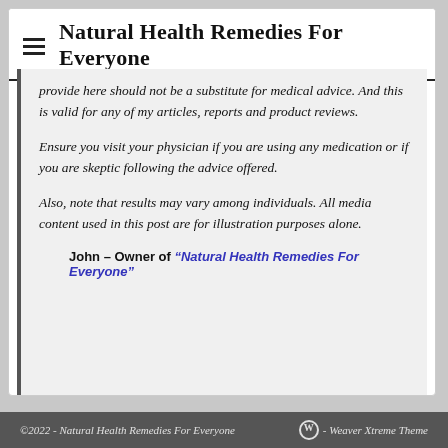Natural Health Remedies For Everyone
provide here should not be a substitute for medical advice. And this is valid for any of my articles, reports and product reviews.
Ensure you visit your physician if you are using any medication or if you are skeptic following the advice offered.
Also, note that results may vary among individuals. All media content used in this post are for illustration purposes alone.
John – Owner of “Natural Health Remedies For Everyone”
©2022 - Natural Health Remedies For Everyone    Ⓦ - Weaver Xtreme Theme